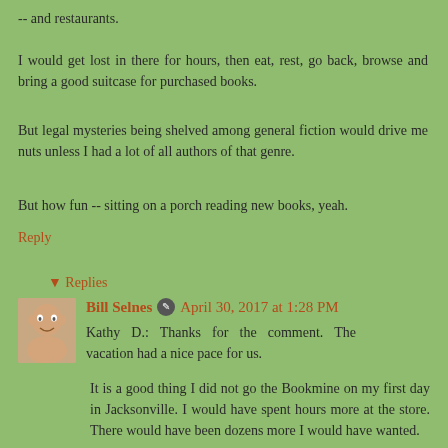-- and restaurants.
I would get lost in there for hours, then eat, rest, go back, browse and bring a good suitcase for purchased books.
But legal mysteries being shelved among general fiction would drive me nuts unless I had a lot of all authors of that genre.
But how fun -- sitting on a porch reading new books, yeah.
Reply
▾ Replies
Bill Selnes ✎ April 30, 2017 at 1:28 PM
Kathy D.: Thanks for the comment. The vacation had a nice pace for us.
It is a good thing I did not go the Bookmine on my first day in Jacksonville. I would have spent hours more at the store. There would have been dozens more I would have wanted.